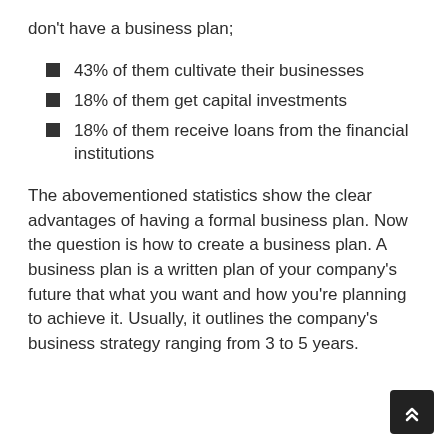don't have a business plan;
43% of them cultivate their businesses
18% of them get capital investments
18% of them receive loans from the financial institutions
The abovementioned statistics show the clear advantages of having a formal business plan. Now the question is how to create a business plan. A business plan is a written plan of your company's future that what you want and how you're planning to achieve it. Usually, it outlines the company's business strategy ranging from 3 to 5 years.